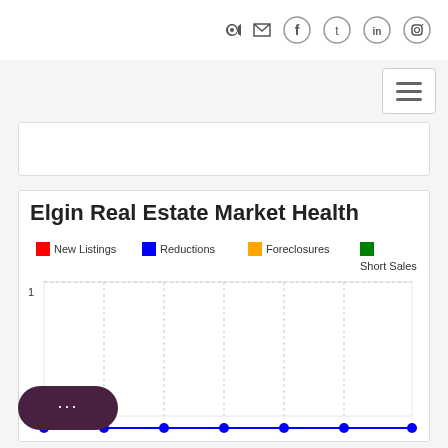Navigation header with icons: login, email, facebook, twitter, linkedin, instagram
[Figure (screenshot): Hamburger menu button (three horizontal lines) in top right corner]
[Figure (other): White card placeholder area]
Elgin Real Estate Market Health
[Figure (line-chart): Line chart with legend showing New Listings (red), Reductions (blue), Foreclosures (orange), Short Sales (green). Chart has y-axis value of 1 visible, x-axis shows 0 and data points. Blue line visible along bottom axis with circular markers.]
[Figure (other): Chat bubble widget with three dots (ellipsis) in dark purple/maroon color]